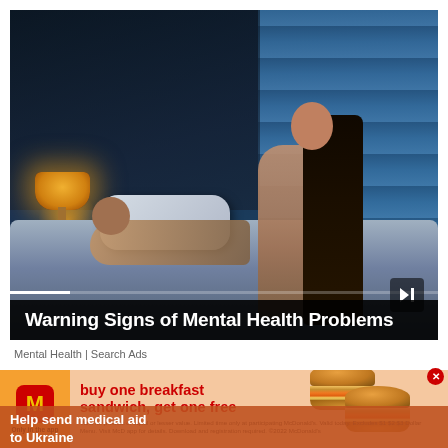[Figure (photo): Video thumbnail showing a woman sitting up in bed at night, man lying down asleep, bedside lamp glowing orange, blue-lit blinds in background. Video player interface with progress bar and skip button.]
Warning Signs of Mental Health Problems
Mental Health | Search Ads
[Figure (photo): McDonald's advertisement: buy one breakfast sandwich, get one free. Only in the app. Shows McDonald's logo, two breakfast sandwiches. Fine print: Valid for product of equal or lesser value. Limited time only at participating McDonald's. Valid today. Excludes $1 $2 $3 Dollar Menu. Visit McD app for details. Download and registration required. ©2022 McDonald's]
buy one breakfast sandwich, get one free
Valid for product of equal or lesser value. Limited time only at participating McDonald's. Valid today. Excludes $1 $2 $3 Dollar Menu. Visit McD app for details. Download and registration required. ©2022 McDonald's